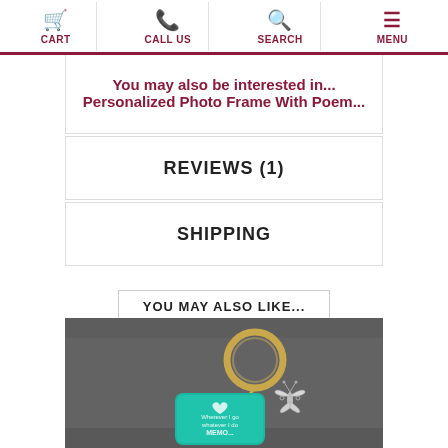CART | CALL US | SEARCH | MENU
You may also be interested in... Personalized Photo Frame With Poem...
REVIEWS (1)
SHIPPING
YOU MAY ALSO LIKE...
[Figure (photo): Photo of a teal/turquoise keychain tag with a silver butterfly charm and gold ring, with text 'Wherever I go whatever I do MEMO...' on the tag, photographed on a dark background.]